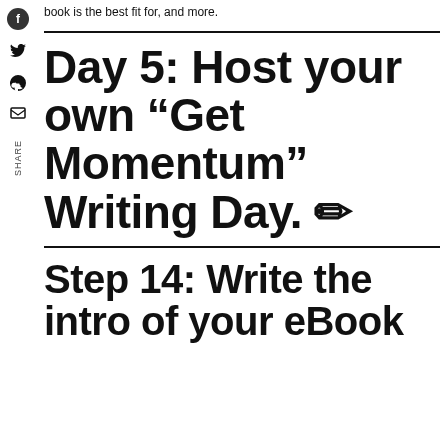book is the best fit for, and more.
Day 5: Host your own “Get Momentum” Writing Day. ✏
Step 14: Write the intro of your eBook